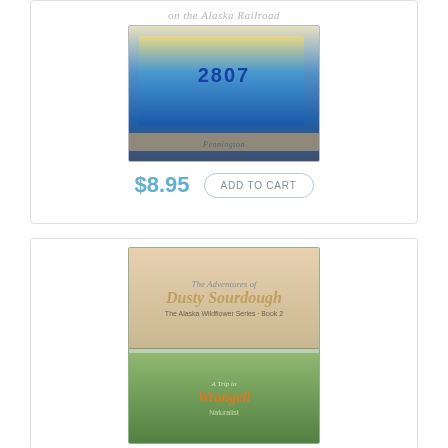on the Alaska Railroad
[Figure (photo): Book cover image showing locomotive number 2807 on the Alaska Railroad, illustrated by Pennington]
$8.95
ADD TO CART
[Figure (photo): Book cover image for 'The Adventures of Dusty Sourdough' - showing two books stacked, top book with series title and bottom showing 'Trip to Wrangell' with nature/wildlife imagery]